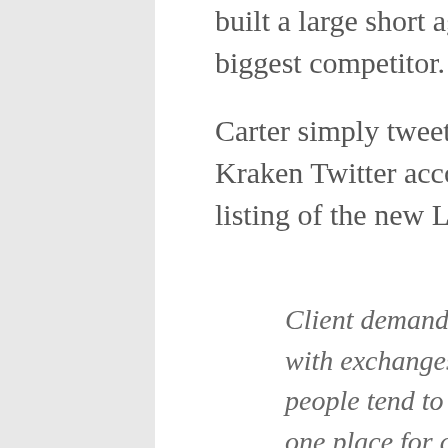built a large short against Coinbase, Kraken's biggest competitor.
Carter simply tweeted “why” to the official Kraken Twitter account that announced the listing of the new LUNA.
Client demand. There’s a weird dynamic with exchanges. Switching cost is low and people tend to want to do everything all in one place for capital efficiency/synergies/convenience. Not supporting 1 coin people demand could cost you the entire account. Listing isn’t an